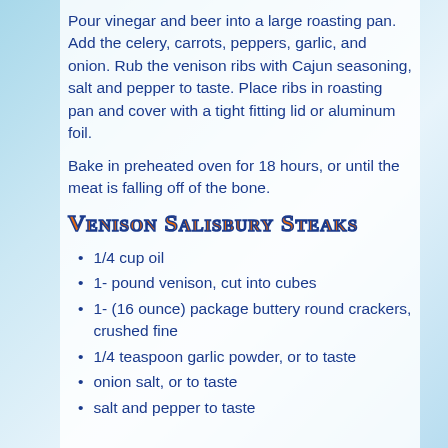Pour vinegar and beer into a large roasting pan. Add the celery, carrots, peppers, garlic, and onion. Rub the venison ribs with Cajun seasoning, salt and pepper to taste. Place ribs in roasting pan and cover with a tight fitting lid or aluminum foil.
Bake in preheated oven for 18 hours, or until the meat is falling off of the bone.
Venison Salisbury Steaks
1/4 cup oil
1- pound venison, cut into cubes
1- (16 ounce) package buttery round crackers, crushed fine
1/4 teaspoon garlic powder, or to taste
onion salt, or to taste
salt and pepper to taste